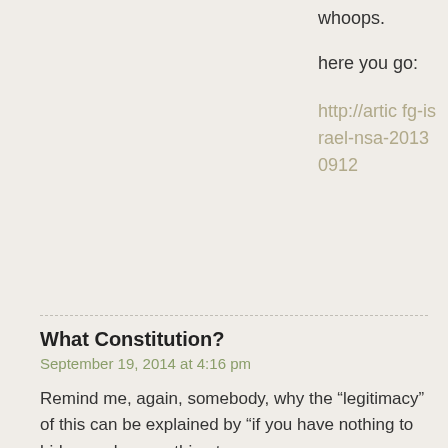whoops.
here you go:
http://artic fg-israel-nsa-20130912
What Constitution?
September 19, 2014 at 4:16 pm
Remind me, again, somebody, why the “legitimacy” of this can be explained by “if you have nothing to hide, you have nothing to